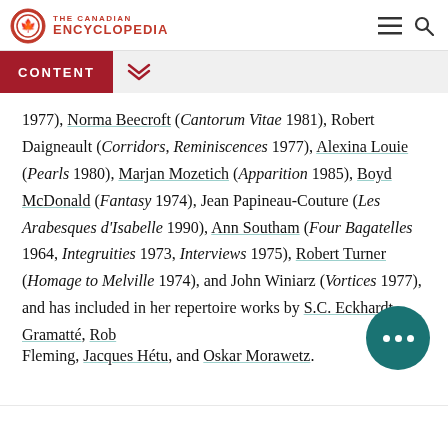THE CANADIAN ENCYCLOPEDIA
CONTENT
1977), Norma Beecroft (Cantorum Vitae 1981), Robert Daigneault (Corridors, Reminiscences 1977), Alexina Louie (Pearls 1980), Marjan Mozetich (Apparition 1985), Boyd McDonald (Fantasy 1974), Jean Papineau-Couture (Les Arabesques d'Isabelle 1990), Ann Southam (Four Bagatelles 1964, Integruities 1973, Interviews 1975), Robert Turner (Homage to Melville 1974), and John Winiarz (Vortices 1977), and has included in her repertoire works by S.C. Eckhardt-Gramatté, Robert Fleming, Jacques Hétu, and Oskar Morawetz.